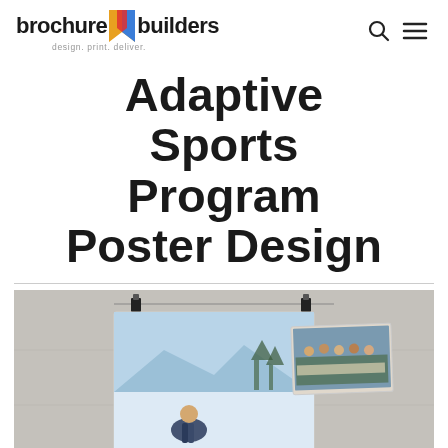brochure builders — design. print. deliver.
Adaptive Sports Program Poster Design
[Figure (photo): Photograph of an adaptive sports poster design displayed on a concrete wall, hung with binder clips on wire. The poster shows a skier or snowboarder in a snowy outdoor setting, with a smaller photograph overlapping in the corner showing a group of people outdoors.]